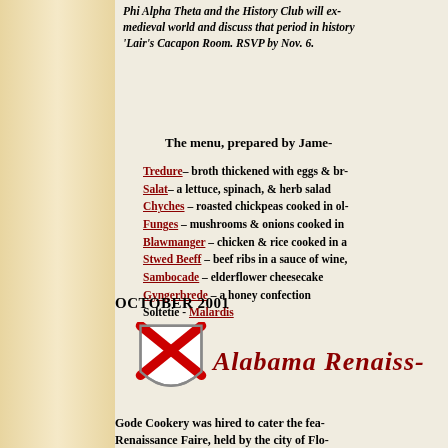Phi Alpha Theta and the History Club will ex- medieval world and discuss that period in history 'Lair's Cacapon Room. RSVP by Nov. 6.
The menu, prepared by Jame-
Tredure– broth thickened with eggs & br-
Salat– a lettuce, spinach, & herb salad
Chyches – roasted chickpeas cooked in ol-
Funges – mushrooms & onions cooked in
Blawmanger – chicken & rice cooked in a
Stwed Beeff – beef ribs in a sauce of wine,
Sambocade – elderflower cheesecake
Gyngerbrede – a honey confection
Soltetie - Malardis
OCTOBER 2001
[Figure (logo): Alabama Renaissance Festival logo with shield bearing red X cross and stylized text 'Alabama Renaiss-']
Gode Cookery was hired to cater the fea- Renaissance Faire, held by the city of Flo-